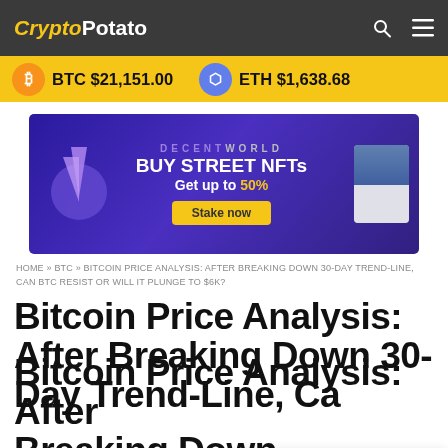CryptoPotato
BTC $21,151.00   ETH $1,638.68
[Figure (screenshot): DecentWorld advertisement banner: BUY STREET NFTs Get up to 50% - Stake now]
HOME » BTC » BITCOIN PRICE ANALYSIS: AFTER BREAKING DOWN 30-DAY TREND-LINE, CAN BTC RESIST OR WILL IT PLUNGE TO $6K?
Bitcoin Price Analysis: After Breaking Down 30-Day Trend-Line, Can BTC Resist Or Will It Plunge To $6K?
[Figure (screenshot): Coinbase Wallet advertisement: Buy crypto instantly and store it securely. Download Today button.]